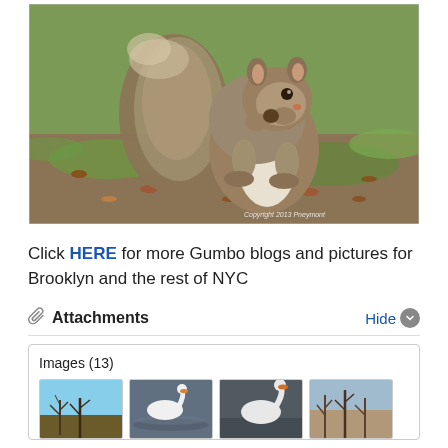[Figure (photo): A grey squirrel sitting upright on grass eating something, holding food with both paws. Background shows grass and fallen leaves. Copyright 2013 Pneymont watermark in bottom right corner.]
Click HERE for more Gumbo blogs and pictures for Brooklyn and the rest of NYC
Attachments
Images (13)
[Figure (photo): Thumbnail of bare trees against blue sky]
[Figure (photo): Thumbnail of a swan on water]
[Figure (photo): Thumbnail of a swan on water]
[Figure (photo): Thumbnail of bare trees]